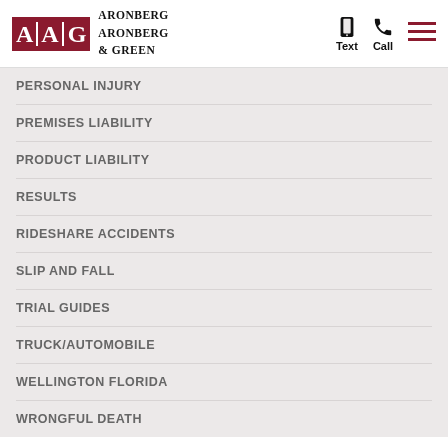Aronberg Aronberg & Green — Navigation header with Text and Call icons
PERSONAL INJURY
PREMISES LIABILITY
PRODUCT LIABILITY
RESULTS
RIDESHARE ACCIDENTS
SLIP AND FALL
TRIAL GUIDES
TRUCK/AUTOMOBILE
WELLINGTON FLORIDA
WRONGFUL DEATH